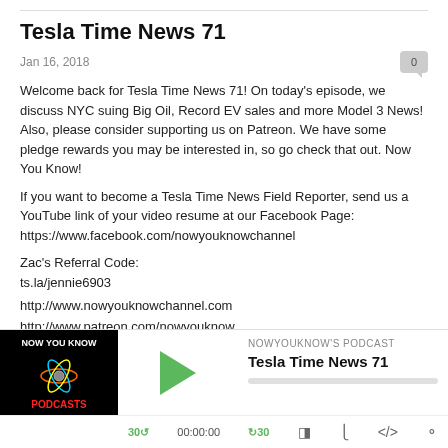Tesla Time News 71
Jan 16, 2018
Welcome back for Tesla Time News 71! On today's episode, we discuss NYC suing Big Oil, Record EV sales and more Model 3 News! Also, please consider supporting us on Patreon. We have some pledge rewards you may be interested in, so go check that out. Now You Know!
If you want to become a Tesla Time News Field Reporter, send us a YouTube link of your video resume at our Facebook Page:
https://www.facebook.com/nowyouknowchannel
Zac's Referral Code:
ts.la/jennie6903
http://www.nowyouknowchannel.com
http://www.patreon.com/nowyouknow
[Figure (other): Podcast player widget showing 'Now You Know Podcasts' artwork and audio controls for Tesla Time News 71]